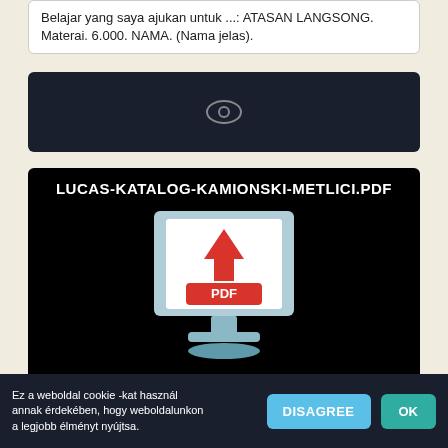Belajar yang saya ajukan untuk ...: ATASAN LANGSONG. Materai. 6.000. NAMA. (Nama jelas).
[Figure (other): Dark bar with an eye/preview icon in the center]
[Figure (other): Black card showing 'LUCAS-KATALOG-KAMIONSKI-METLICI.PDF' title and a PDF download illustration with a monitor displaying a document with a red down-arrow and red PDF label]
IKARUS. 386-398. 386,396,412,415,435,61,417,417 NF, 315. LLWHDS40. LLWHDS40 ... 260.32. 07/90 -. LLWHDH26. LLWHDH26. 260.35 H. 01/83 - 12/83. LLWHDH26.
Ez a weboldal cookie -kat használ annak érdekében, hogy weboldalunkon a legjobb élményt nyújtsa.
DISAGREE
OK